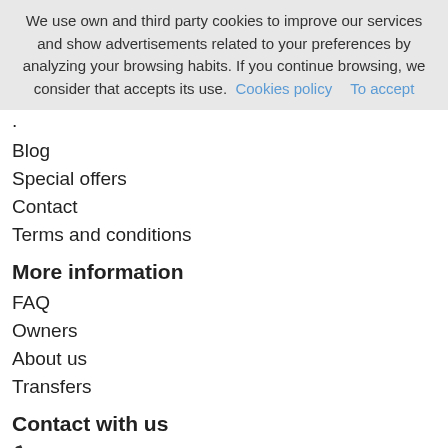We use own and third party cookies to improve our services and show advertisements related to your preferences by analyzing your browsing habits. If you continue browsing, we consider that accepts its use. Cookies policy   To accept
·
Blog
Special offers
Contact
Terms and conditions
More information
FAQ
Owners
About us
Transfers
Contact with us
📞  +34 667418365
✉  info@blausitges.com